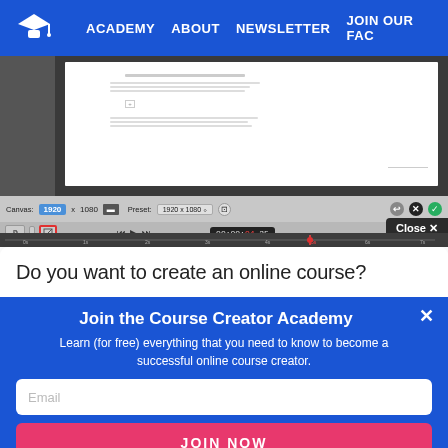ACADEMY   ABOUT   NEWSLETTER   JOIN OUR FAC
[Figure (screenshot): Screenshot of a video editing software showing canvas settings (1920 x 1080), preset dropdown, playback controls with timecode 00:00:04:25, crop tool highlighted with red border, and a Close button. A document is visible in the editing area.]
Do you want to create an online course?
Join the Course Creator Academy
Learn (for free) everything that you need to know to become a successful online course creator.
Email
JOIN NOW